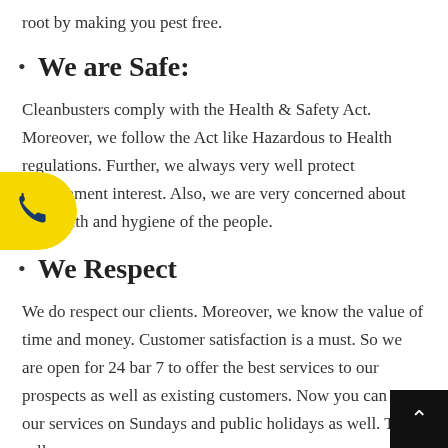root by making you pest free.
We are Safe:
Cleanbusters comply with the Health & Safety Act. Moreover, we follow the Act like Hazardous to Health regulations. Further, we always very well protect environment interest. Also, we are very concerned about the health and hygiene of the people.
We Respect
We do respect our clients. Moreover, we know the value of time and money. Customer satisfaction is a must. So we are open for 24 bar 7 to offer the best services to our prospects as well as existing customers. Now you can get our services on Sundays and public holidays as well. Thus, call us